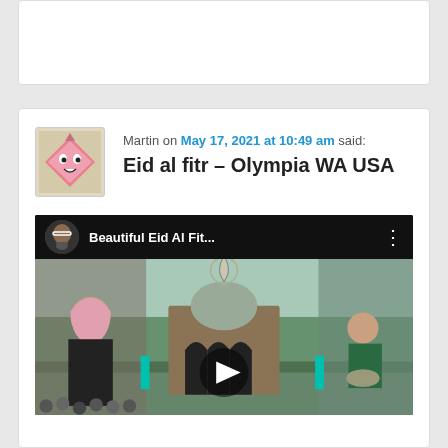[Figure (other): Top comment box (partial, mostly empty/cropped)]
Martin on May 17, 2021 at 10:49 am said:
Eid al fitr – Olympia WA USA
[Figure (screenshot): YouTube video thumbnail showing 'Beautiful Eid Al Fit...' with mosque and outdoor prayer scene]